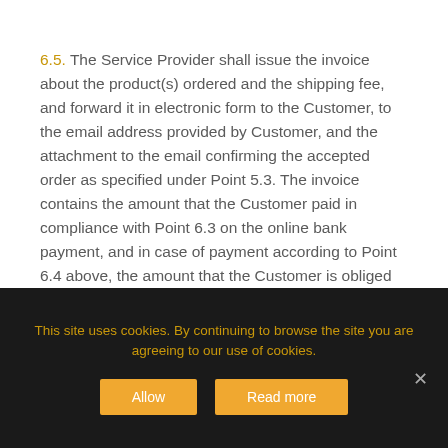6.5. The Service Provider shall issue the invoice about the product(s) ordered and the shipping fee, and forward it in electronic form to the Customer, to the email address provided by Customer, and the attachment to the email confirming the accepted order as specified under Point 5.3. The invoice contains the amount that the Customer paid in compliance with Point 6.3 on the online bank payment, and in case of payment according to Point 6.4 above, the amount that the Customer is obliged to transfer within the payment deadline specified in the invoice.
This site uses cookies. By continuing to browse the site you are agreeing to our use of cookies.